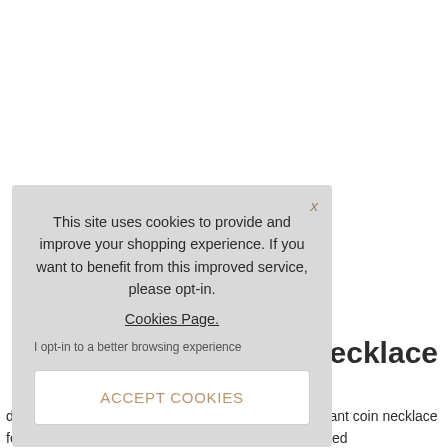t Necklace
d luck... This ect piece to bring you d finish, this elegant coin necklace features a delicately engraved bee motif and is finished
This site uses cookies to provide and improve your shopping experience. If you want to benefit from this improved service, please opt-in. Cookies Page. I opt-in to a better browsing experience
ACCEPT COOKIES